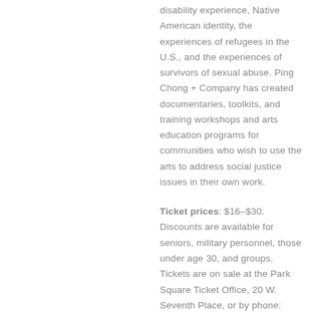disability experience, Native American identity, the experiences of refugees in the U.S., and the experiences of survivors of sexual abuse. Ping Chong + Company has created documentaries, toolkits, and training workshops and arts education programs for communities who wish to use the arts to address social justice issues in their own work.
Ticket prices: $16–$30. Discounts are available for seniors, military personnel, those under age 30, and groups. Tickets are on sale at the Park Square Ticket Office, 20 W. Seventh Place, or by phone: 651.291.7005, (12 noon to 5 p.m.